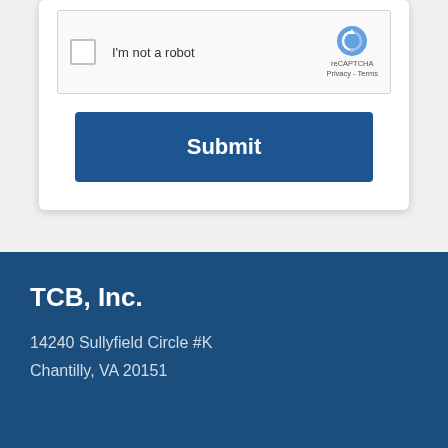[Figure (screenshot): reCAPTCHA widget showing checkbox 'I'm not a robot' with reCAPTCHA logo and Privacy/Terms links]
Submit
TCB, Inc.
14240 Sullyfield Circle #K
Chantilly, VA 20151